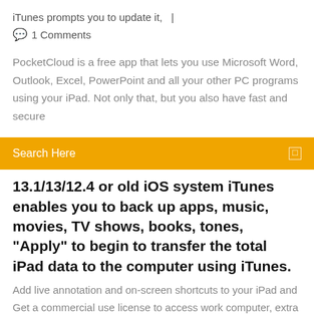iTunes prompts you to update it,  |
💬  1 Comments
PocketCloud is a free app that lets you use Microsoft Word, Outlook, Excel, PowerPoint and all your other PC programs using your iPad. Not only that, but you also have fast and secure
[Figure (screenshot): Orange search bar with text 'Search Here' and a small white search icon on the right]
13.1/13/12.4 or old iOS system iTunes enables you to back up apps, music, movies, TV shows, books, tones, "Apply" to begin to transfer the total iPad data to the computer using iTunes.
Add live annotation and on-screen shortcuts to your iPad and Get a commercial use license to access work computer, extra features like remote print and file transfer, access to more computers, and  Supports the transfer of medium files between iTunes and Android. Only support to export the Apps from computer to iPad on iOS 9.0 and below: Intuitive, files and more